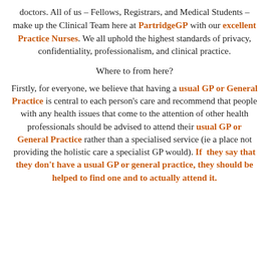doctors. All of us – Fellows, Registrars, and Medical Students – make up the Clinical Team here at PartridgeGP with our excellent Practice Nurses. We all uphold the highest standards of privacy, confidentiality, professionalism, and clinical practice.
Where to from here?
Firstly, for everyone, we believe that having a usual GP or General Practice is central to each person's care and recommend that people with any health issues that come to the attention of other health professionals should be advised to attend their usual GP or General Practice rather than a specialised service (ie a place not providing the holistic care a specialist GP would). If they say that they don't have a usual GP or general practice, they should be helped to find one and to actually attend it.